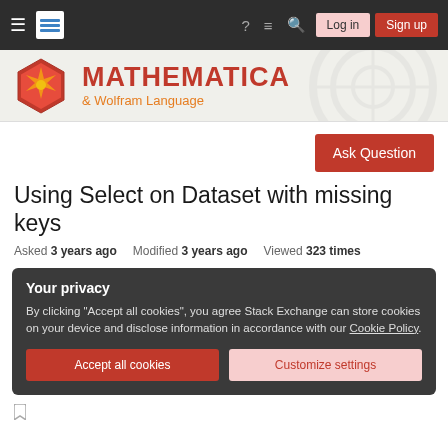Mathematica & Wolfram Language - Stack Exchange navigation bar with Log in and Sign up buttons
[Figure (logo): Mathematica Stack Exchange brand header with hexagonal Wolfram logo, title MATHEMATICA and subtitle & Wolfram Language]
Ask Question
Using Select on Dataset with missing keys
Asked 3 years ago   Modified 3 years ago   Viewed 323 times
Your privacy
By clicking "Accept all cookies", you agree Stack Exchange can store cookies on your device and disclose information in accordance with our Cookie Policy.
Accept all cookies   Customize settings